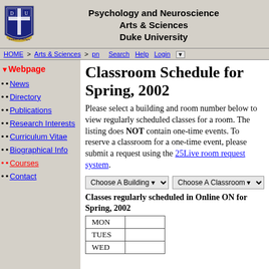Psychology and Neuroscience Arts & Sciences Duke University
HOME > Arts & Sciences > pn   Search Help Login
▼ Webpage
• News
• Directory
• Publications
• Research Interests
• Curriculum Vitae
• Biographical Info
• Courses
• Contact
Classroom Schedule for Spring, 2002
Please select a building and room number below to view regularly scheduled classes for a room. The listing does NOT contain one-time events. To reserve a classroom for a one-time event, please submit a request using the 25Live room request system.
Choose A Building   Choose A Classroom
Classes regularly scheduled in Online ON for Spring, 2002
| MON |  |
| TUES |  |
| WED |  |